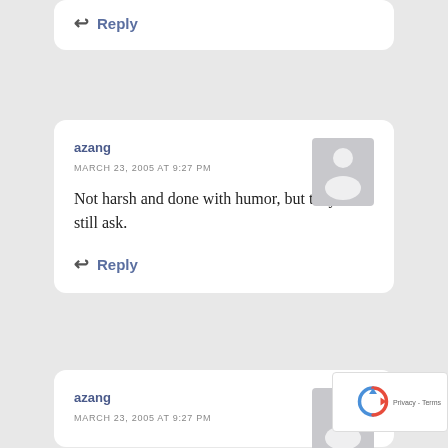Reply
azang
MARCH 23, 2005 AT 9:27 PM
Not harsh and done with humor, but they will still ask.
Reply
azang
MARCH 23, 2005 AT 9:27 PM